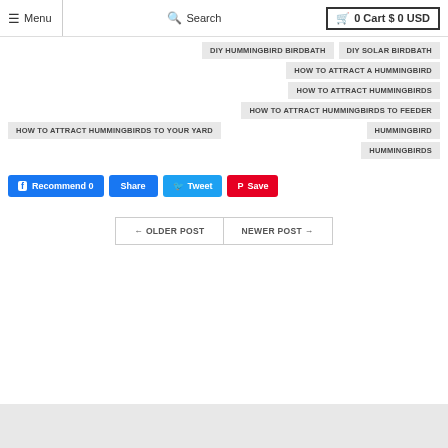Menu | Search | 0 Cart $0 USD
DIY HUMMINGBIRD BIRDBATH
DIY SOLAR BIRDBATH
HOW TO ATTRACT A HUMMINGBIRD
HOW TO ATTRACT HUMMINGBIRDS
HOW TO ATTRACT HUMMINGBIRDS TO FEEDER
HOW TO ATTRACT HUMMINGBIRDS TO YOUR YARD
HUMMINGBIRD
HUMMINGBIRDS
Recommend 0 | Share | Tweet | Save
← OLDER POST  NEWER POST →